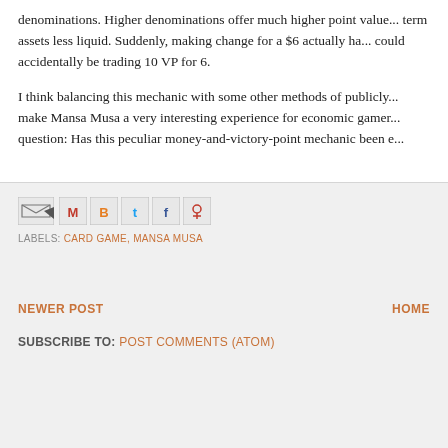denominations. Higher denominations offer much higher point value... term assets less liquid. Suddenly, making change for a $6 actually ha... could accidentally be trading 10 VP for 6.
I think balancing this mechanic with some other methods of publicly... make Mansa Musa a very interesting experience for economic gamer... question: Has this peculiar money-and-victory-point mechanic been e...
[Figure (other): Social sharing icons: email forward, Gmail, Blogger, Twitter, Facebook, Pinterest]
LABELS: CARD GAME, MANSA MUSA
NEWER POST
HOME
SUBSCRIBE TO: POST COMMENTS (ATOM)